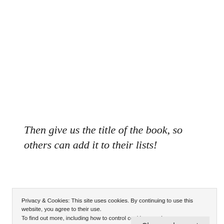Then give us the title of the book, so others can add it to their lists!
What a great way to spend a Friday!
Today's feature is a book I have had for a while: Good Luck with That, by Kristen
Privacy & Cookies: This site uses cookies. By continuing to use this website, you agree to their use.
To find out more, including how to control cookies, see here: Cookie Policy
[Figure (illustration): HIGGINS text in large purple bold letters on a teal/cyan background bar]